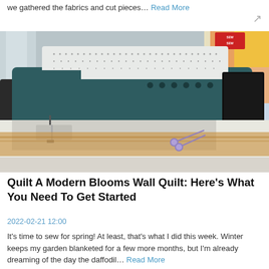we gathered the fabrics and cut pieces… Read More
[Figure (photo): Close-up photograph of a teal/dark green sewing machine (performance icon) on a table, with scissors visible in the foreground and colorful quilt fabric in the background]
Quilt A Modern Blooms Wall Quilt: Here's What You Need To Get Started
2022-02-21 12:00
It's time to sew for spring! At least, that's what I did this week. Winter keeps my garden blanketed for a few more months, but I'm already dreaming of the day the daffodil… Read More